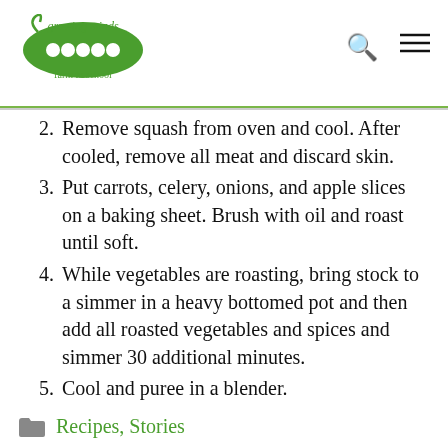Growing Minds Farm to School
2. Remove squash from oven and cool. After cooled, remove all meat and discard skin.
3. Put carrots, celery, onions, and apple slices on a baking sheet. Brush with oil and roast until soft.
4. While vegetables are roasting, bring stock to a simmer in a heavy bottomed pot and then add all roasted vegetables and spices and simmer 30 additional minutes.
5. Cool and puree in a blender.
Recipes, Stories